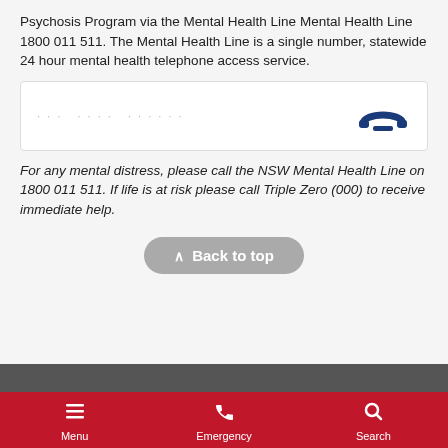Psychosis Program via the Mental Health Line Mental Health Line 1800 011 511. The Mental Health Line is a single number, statewide 24 hour mental health telephone access service.
[Figure (infographic): White box with phone number dots on the left and a blue phone hang-up icon on the right]
For any mental distress, please call the NSW Mental Health Line on 1800 011 511. If life is at risk please call Triple Zero (000) to receive immediate help.
Back to top
Menu | Emergency | Search